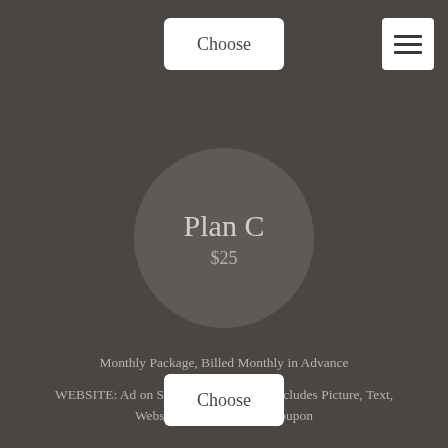Choose
[Figure (other): Hamburger menu icon (three horizontal lines)]
Plan C
$25
Monthly Package, Billed Monthly in Advance
WEBSITE: Ad on Specific Page (1) Ad Includes Picture, Text, Website Link, (optional) Coupon
Choose